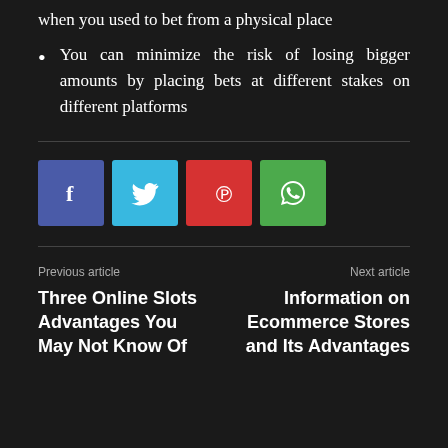when you used to bet from a physical place
You can minimize the risk of losing bigger amounts by placing bets at different stakes on different platforms
[Figure (other): Social sharing buttons: Facebook (blue), Twitter (light blue), Pinterest (red), WhatsApp (green)]
Previous article
Three Online Slots Advantages You May Not Know Of
Next article
Information on Ecommerce Stores and Its Advantages